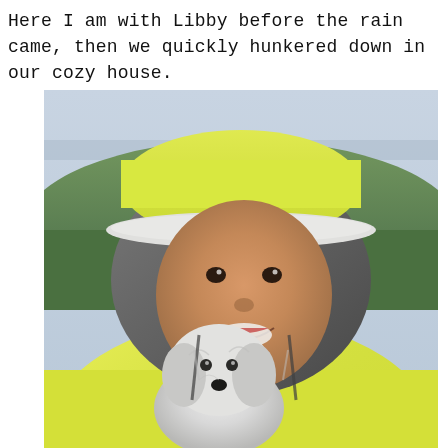Here I am with Libby before the rain came, then we quickly hunkered down in our cozy house.
[Figure (photo): A smiling woman wearing a yellow rain jacket with hood and a yellow cap with white brim, holding a small white fluffy dog. Background shows greenery and a light sky, suggesting an outdoor setting before rain.]